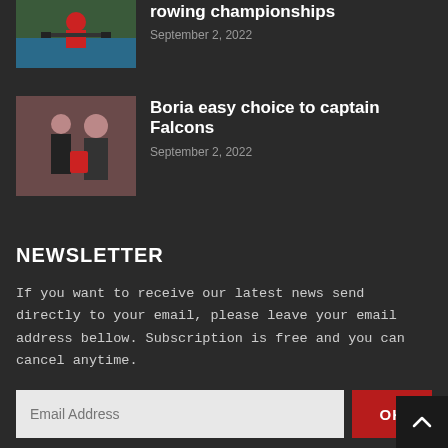[Figure (photo): Rower athlete in white uniform rowing on water]
rowing championships
September 2, 2022
[Figure (photo): Two people posing indoors, one holding a red jersey]
Boria easy choice to captain Falcons
September 2, 2022
NEWSLETTER
If you want to receive our latest news send directly to your email, please leave your email address bellow. Subscription is free and you can cancel anytime.